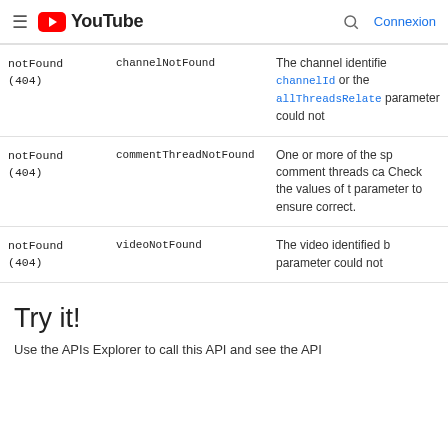≡  YouTube  🔍  Connexion
|  |  |  |
| --- | --- | --- |
| notFound (404) | channelNotFound | The channel identifie channelId or the allThreadsRelate parameter could not |
| notFound (404) | commentThreadNotFound | One or more of the sp comment threads ca Check the values of t parameter to ensure correct. |
| notFound (404) | videoNotFound | The video identified b parameter could not |
Try it!
Use the APIs Explorer to call this API and see the API